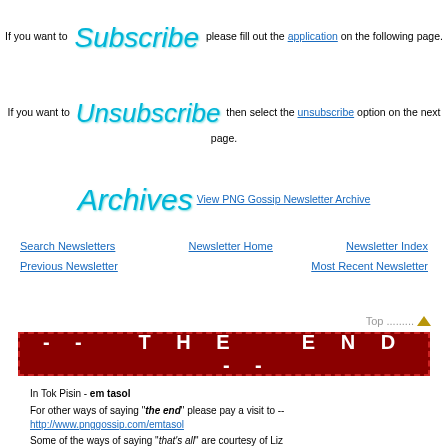If you want to Subscribe please fill out the application on the following page.
If you want to Unsubscribe then select the unsubscribe option on the next page.
Archives View PNG Gossip Newsletter Archive
Search Newsletters   Newsletter Home   Newsletter Index   Previous Newsletter   Most Recent Newsletter
Top
- -   T H E   E N D   - -
In Tok Pisin - em tasol
For other ways of saying "the end" please pay a visit to -- http://www.pnggossip.com/emtasol
Some of the ways of saying "that's all" are courtesy of Liz and her friends at the University of Technology in Lae. -- http://www.unitech.ac.pg
If you can add to this list then please click here and use the submission form.